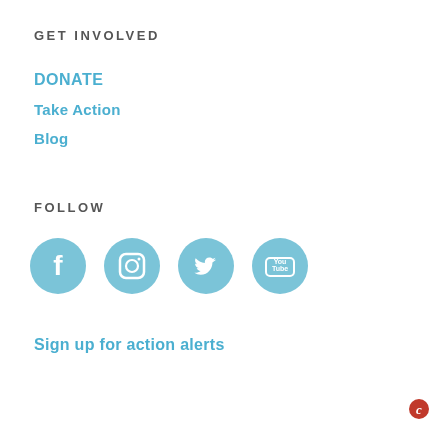GET INVOLVED
DONATE
Take Action
Blog
FOLLOW
[Figure (illustration): Four social media icon circles: Facebook, Instagram, Twitter, YouTube — all in light blue]
Sign up for action alerts
[Figure (logo): Small 'C' logo in bottom right corner]